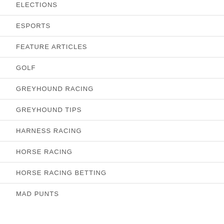ELECTIONS
ESPORTS
FEATURE ARTICLES
GOLF
GREYHOUND RACING
GREYHOUND TIPS
HARNESS RACING
HORSE RACING
HORSE RACING BETTING
MAD PUNTS